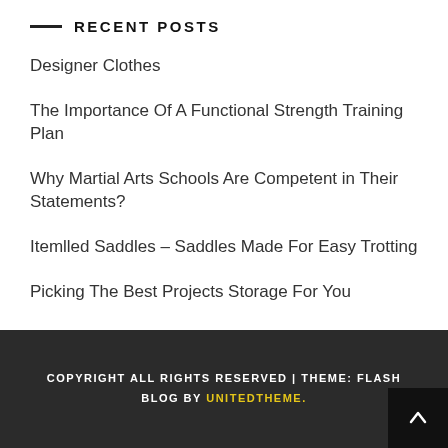RECENT POSTS
Designer Clothes
The Importance Of A Functional Strength Training Plan
Why Martial Arts Schools Are Competent in Their Statements?
Itemlled Saddles – Saddles Made For Easy Trotting
Picking The Best Projects Storage For You
COPYRIGHT ALL RIGHTS RESERVED | THEME: FLASH BLOG BY UNITEDTHEME.